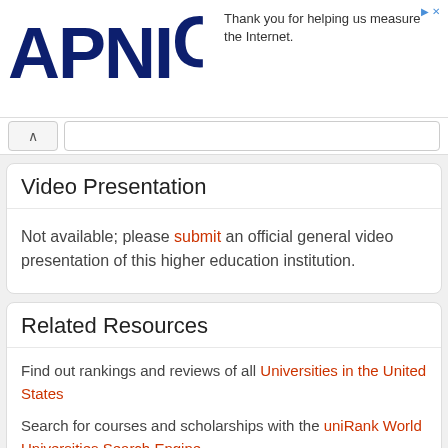APNIC — Thank you for helping us measure the Internet.
Video Presentation
Not available; please submit an official general video presentation of this higher education institution.
Related Resources
Find out rankings and reviews of all Universities in the United States
Search for courses and scholarships with the uniRank World Universities Search Engine